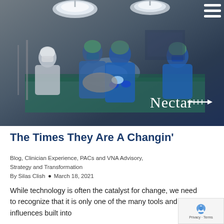[Figure (photo): Surgical team performing an operation under bright overhead lights in an operating room. The scene is partially in blue tones. The Nectar logo with an arrow icon appears in the lower right of the image. A hamburger menu icon is in the upper right corner.]
The Times They Are A Changin'
Blog, Clinician Experience, PACs and VNA Advisory, Strategy and Transformation
By Silas Clish • March 18, 2021
While technology is often the catalyst for change, we need to recognize that it is only one of the many tools and influences built into